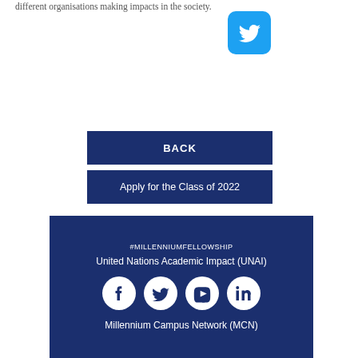different organisations making impacts in the society.
[Figure (logo): Twitter bird icon in cyan/teal rounded square button]
BACK
Apply for the Class of 2022
#MILLENNIUMFELLOWSHIP
United Nations Academic Impact (UNAI)
Millennium Campus Network (MCN)
[Figure (logo): Social media icons row: Facebook, Twitter, YouTube, LinkedIn — white circles on dark navy background]